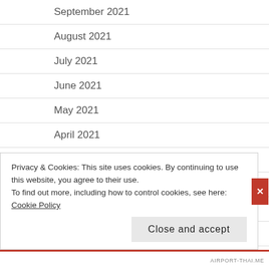September 2021
August 2021
July 2021
June 2021
May 2021
April 2021
March 2021
February 2021
January 2021
December 2020
Privacy & Cookies: This site uses cookies. By continuing to use this website, you agree to their use.
To find out more, including how to control cookies, see here: Cookie Policy
Close and accept